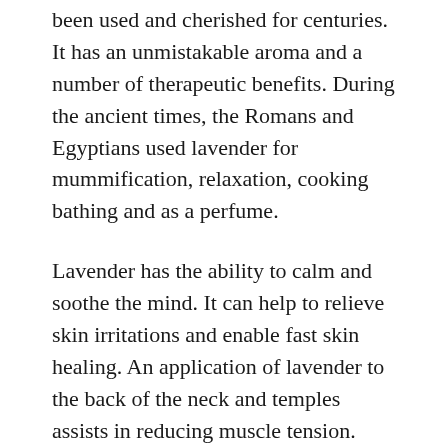been used and cherished for centuries. It has an unmistakable aroma and a number of therapeutic benefits. During the ancient times, the Romans and Egyptians used lavender for mummification, relaxation, cooking bathing and as a perfume.
Lavender has the ability to calm and soothe the mind. It can help to relieve skin irritations and enable fast skin healing. An application of lavender to the back of the neck and temples assists in reducing muscle tension. Inhaling lavender promotes relaxation and a restful night's sleep. This makes it ideal to use in a diffuser at night or when your stress levels are high.